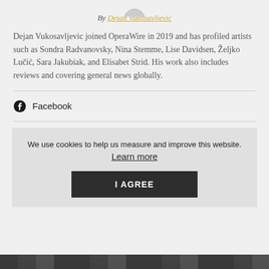By Dejan Vukosavljevic
Dejan Vukosavljevic joined OperaWire in 2019 and has profiled artists such as Sondra Radvanovsky, Nina Stemme, Lise Davidsen, Željko Lučić, Sara Jakubiak, and Elisabet Strid. His work also includes reviews and covering general news globally.
Facebook
We use cookies to help us measure and improve this website. Learn more
I AGREE